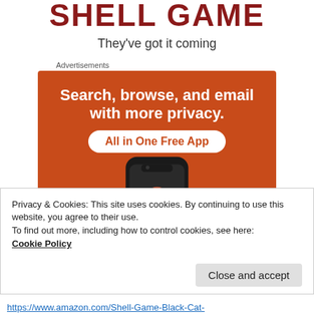SHELL GAME
They've got it coming
Advertisements
[Figure (other): DuckDuckGo advertisement showing a smartphone with DuckDuckGo logo and text: Search, browse, and email with more privacy. All in One Free App.]
Privacy & Cookies: This site uses cookies. By continuing to use this website, you agree to their use.
To find out more, including how to control cookies, see here:
Cookie Policy
https://www.amazon.com/Shell-Game-Black-Cat-